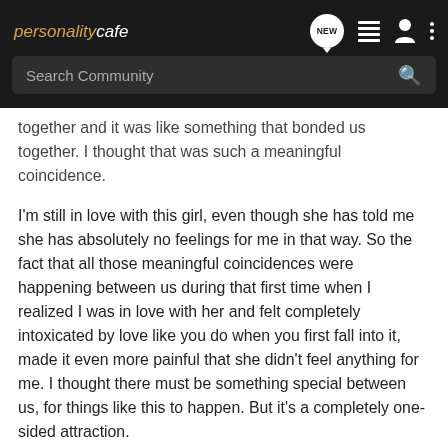personality cafe — navigation bar with NEW, list, person, and more icons, plus Search Community search bar
together and it was like something that bonded us together. I thought that was such a meaningful coincidence.
I'm still in love with this girl, even though she has told me she has absolutely no feelings for me in that way. So the fact that all those meaningful coincidences were happening between us during that first time when I realized I was in love with her and felt completely intoxicated by love like you do when you first fall into it, made it even more painful that she didn't feel anything for me. I thought there must be something special between us, for things like this to happen. But it's a completely one-sided attraction.
Laeona, LQ9, clear moon and 1 other person